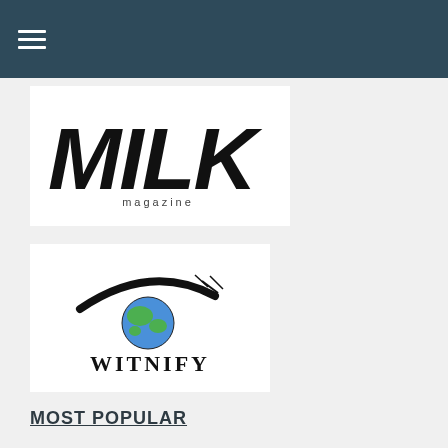Navigation menu bar with hamburger icon
[Figure (logo): MILK magazine logo — bold brush-stroke letters spelling MILK with 'magazine' in small text below]
[Figure (logo): WITNIFY logo — stylized eye with Earth globe as iris, arched eyebrow, and WITNIFY text below]
MOST POPULAR
The Journey
Inside the White Building
Young Leaders
Rediscovering Wise Words
Hierarchy in Khmer Language
Relearning Khmer